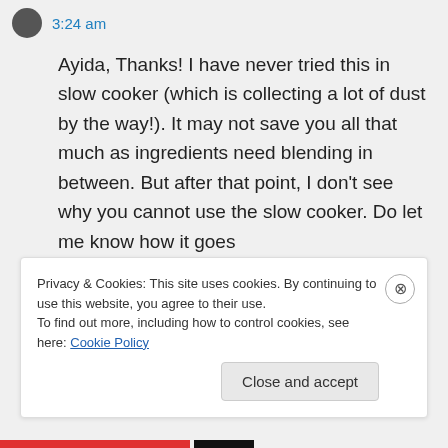3:24 am
Ayida, Thanks! I have never tried this in slow cooker (which is collecting a lot of dust by the way!). It may not save you all that much as ingredients need blending in between. But after that point, I don't see why you cannot use the slow cooker. Do let me know how it goes
↳ Reply
Privacy & Cookies: This site uses cookies. By continuing to use this website, you agree to their use.
To find out more, including how to control cookies, see here: Cookie Policy
Close and accept